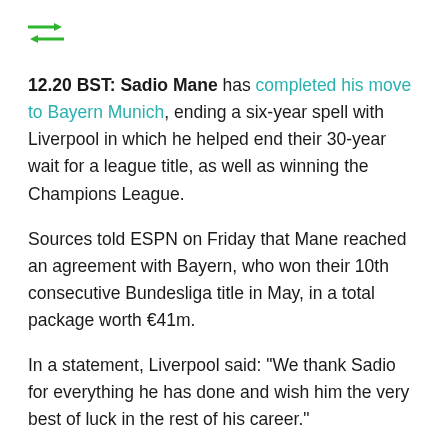[Figure (other): Green double arrow transfer icon]
12.20 BST: Sadio Mane has completed his move to Bayern Munich, ending a six-year spell with Liverpool in which he helped end their 30-year wait for a league title, as well as winning the Champions League.
Sources told ESPN on Friday that Mane reached an agreement with Bayern, who won their 10th consecutive Bundesliga title in May, in a total package worth €41m.
In a statement, Liverpool said: “We thank Sadio for everything he has done and wish him the very best of luck in the rest of his career.”
In a separate statement, Mane said: “Obviously it is strange